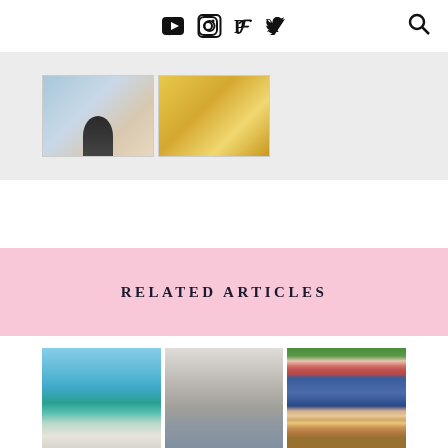Social media icons: YouTube, Instagram, Pinterest, Twitter, Search
[Figure (photo): Two thumbnail images in a strip on light gray background: left thumbnail shows a person lying down outdoors, right thumbnail shows a person in yellow/orange clothing]
RELATED ARTICLES
[Figure (photo): Woman in black floral top and white skirt standing by turquoise water with trees and blue sky]
[Figure (photo): Woman in mint green top and lavender skirt standing in front of white architectural circular doorway]
[Figure (photo): Aerial view of woman in blue dress and straw hat sitting on red checkered picnic blanket with oranges and a book]